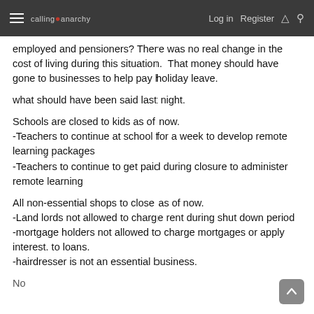≡ calling anarchy   Log in   Register   ⚡   🔍
employed and pensioners? There was no real change in the cost of living during this situation.  That money should have gone to businesses to help pay holiday leave.
what should have been said last night.
Schools are closed to kids as of now.
-Teachers to continue at school for a week to develop remote learning packages
-Teachers to continue to get paid during closure to administer remote learning
All non-essential shops to close as of now.
-Land lords not allowed to charge rent during shut down period
-mortgage holders not allowed to charge mortgages or apply interest. to loans.
-hairdresser is not an essential business.
No…